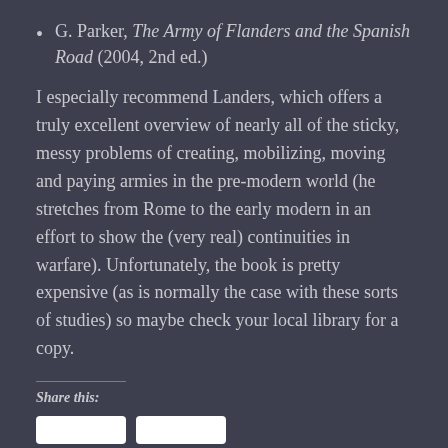G. Parker, The Army of Flanders and the Spanish Road (2004, 2nd ed.)
I especially recommend Landers, which offers a truly excellent overview of nearly all of the sticky, messy problems of creating, mobilizing, moving and paying armies in the pre-modern world (he stretches from Rome to the early modern in an effort to show the (very real) continuities in warfare). Unfortunately, the book is pretty expensive (as is normally the case with these sorts of studies) so maybe check your local library for a copy.
Share this: